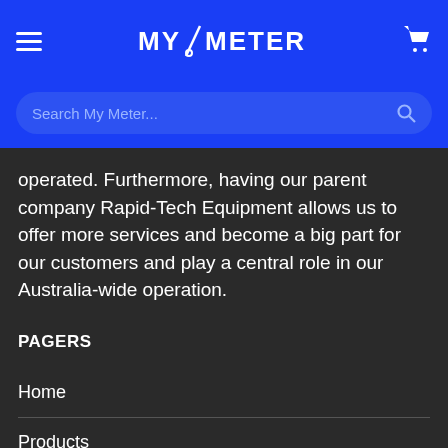MY/METER
operated. Furthermore, having our parent company Rapid-Tech Equipment allows us to offer more services and become a big part for our customers and play a central role in our Australia-wide operation.
PAGERS
Home
Products
Specials